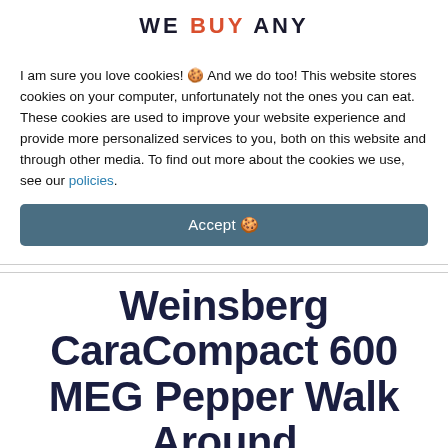WE BUY ANY
I am sure you love cookies! 🍪 And we do too! This website stores cookies on your computer, unfortunately not the ones you can eat. These cookies are used to improve your website experience and provide more personalized services to you, both on this website and through other media. To find out more about the cookies we use, see our policies.
Accept 🍪
Weinsberg CaraCompact 600 MEG Pepper Walk Around
Weinsberg CaraCompact 600 MEG